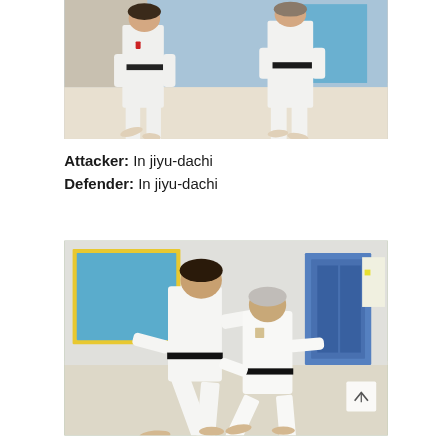[Figure (photo): Two karate practitioners in white gi and black belts standing facing each other in jiyu-dachi (free stance) on a gym floor, both photographed from the waist down area up.]
Attacker: In jiyu-dachi
Defender: In jiyu-dachi
[Figure (photo): Two karate practitioners in white gi and black belts grappling/engaging in close combat technique in a gym/dojo setting with blue walls and yellow-framed panels.]